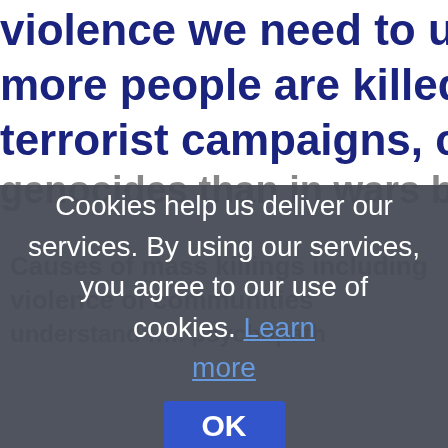violence we need to understand more people are killed today in terrorist campaigns, civil wars, genocides than in wars between
Cookies help us deliver our services. By using our services, you agree to our use of cookies. Learn more
OK